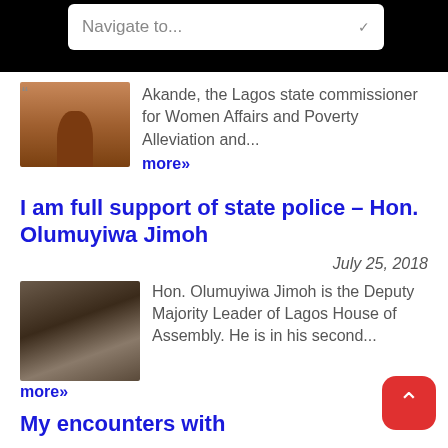Navigate to...
Akande, the Lagos state commissioner for Women Affairs and Poverty Alleviation and...
more»
I am full support of state police – Hon. Olumuyiwa Jimoh
July 25, 2018
Hon. Olumuyiwa Jimoh is the Deputy Majority Leader of Lagos House of Assembly. He is in his second... more»
My encounters with